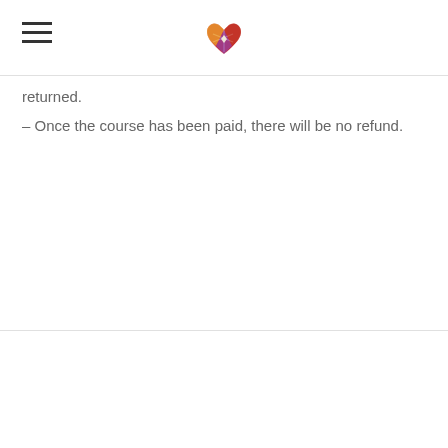[hamburger menu] [heart logo]
returned.
– Once the course has been paid, there will be no refund.